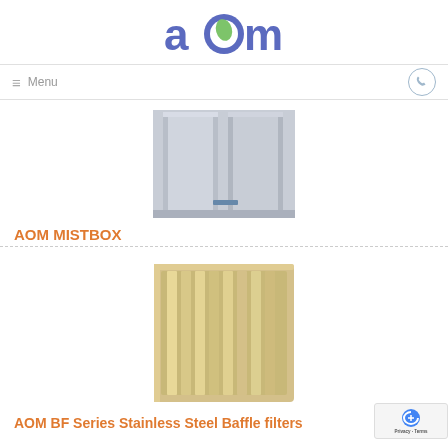AOM logo
≡ Menu
[Figure (photo): Interior view of AOM Mistbox unit, showing metallic enclosure with internal components]
AOM MISTBOX
[Figure (photo): AOM BF Series stainless steel baffle filter, showing parallel vertical slats in a rectangular aluminum frame]
AOM BF Series Stainless Steel Baffle filters